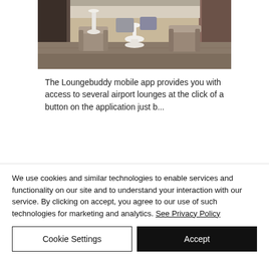[Figure (photo): Interior of an airport lounge with modern chairs, sofas, and a white pedestal side table on a patterned carpet floor]
The Loungebuddy mobile app provides you with access to several airport lounges at the click of a button on the application just b...
We use cookies and similar technologies to enable services and functionality on our site and to understand your interaction with our service. By clicking on accept, you agree to our use of such technologies for marketing and analytics. See Privacy Policy
Cookie Settings
Accept